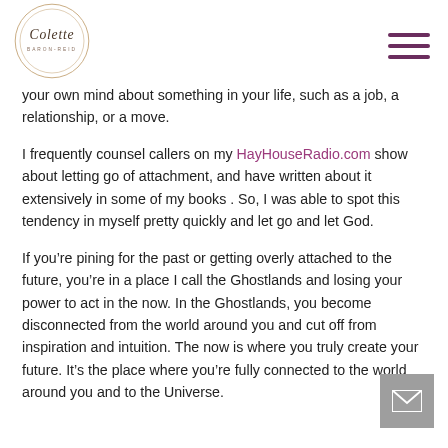Colette Baron-Reid — navigation logo and hamburger menu
your own mind about something in your life, such as a job, a relationship, or a move.
I frequently counsel callers on my HayHouseRadio.com show about letting go of attachment, and have written about it extensively in some of my books . So, I was able to spot this tendency in myself pretty quickly and let go and let God.
If you’re pining for the past or getting overly attached to the future, you’re in a place I call the Ghostlands and losing your power to act in the now. In the Ghostlands, you become disconnected from the world around you and cut off from inspiration and intuition. The now is where you truly create your future. It’s the place where you’re fully connected to the world around you and to the Universe.